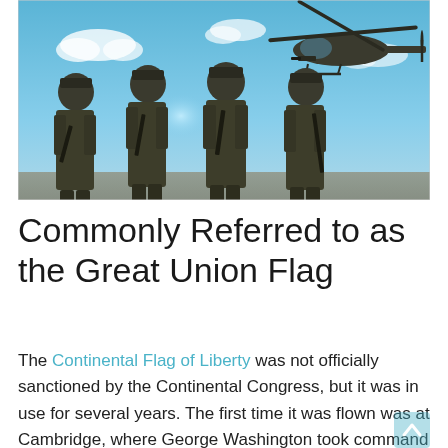[Figure (photo): Four soldiers in full tactical gear and helmets holding rifles, standing in a row against a blue sky with clouds, with a military helicopter (Black Hawk) flying above them.]
Commonly Referred to as the Great Union Flag
The Continental Flag of Liberty was not officially sanctioned by the Continental Congress, but it was in use for several years. The first time it was flown was at Cambridge, where George Washington took command of the Continental Army. Because the American flag